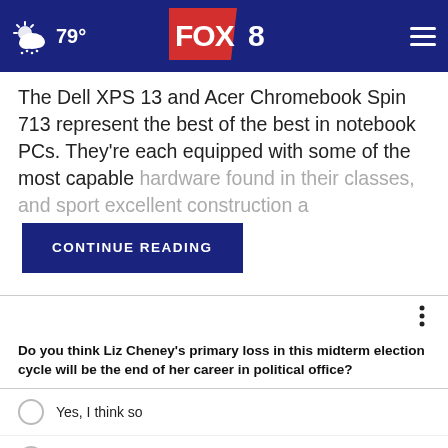79° FOX 8
The Dell XPS 13 and Acer Chromebook Spin 713 represent the best of the best in notebook PCs. They're each equipped with some of the most capable hardware found in their classes, and sport excellent construction a
CONTINUE READING
Do you think Liz Cheney's primary loss in this midterm election cycle will be the end of her career in political office?
Yes, I think so
Maybe, I'm not sure